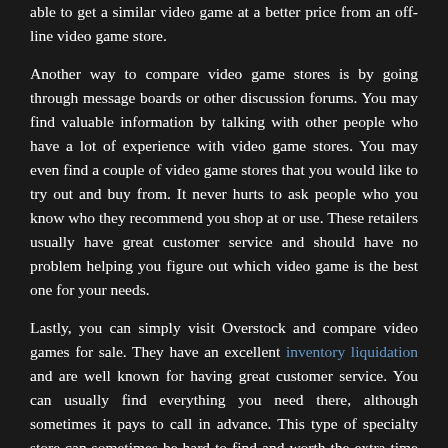able to get a similar video game at a better price from an off-line video game store.
Another way to compare video game stores is by going through message boards or other discussion forums. You may find valuable information by talking with other people who have a lot of experience with video game stores. You may even find a couple of video game stores that you would like to try out and buy from. It never hurts to ask people who you know who they recommend you shop at or use. These retailers usually have great customer service and should have no problem helping you figure out which video game is the best one for your needs.
Lastly, you can simply visit Overstock and compare video games for sale. They have an excellent inventory liquidation and are well known for having great customer service. You can usually find everything you need there, although sometimes it pays to call in advance. This type of specialty store can sometimes be hard to find and worth the extra time spent searching for them.
There are many places you can find video games for sale, but if you want to save time and money...